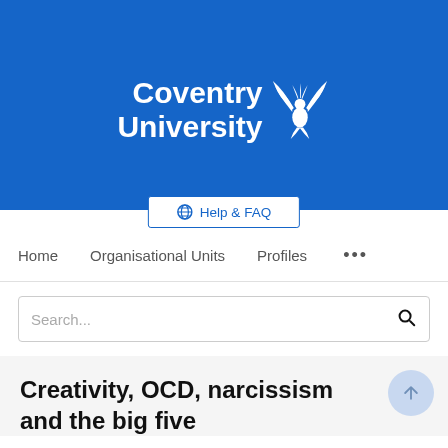[Figure (logo): Coventry University logo with phoenix bird on blue background]
Help & FAQ
Home   Organisational Units   Profiles   ...
Search...
Creativity, OCD, narcissism and the big five